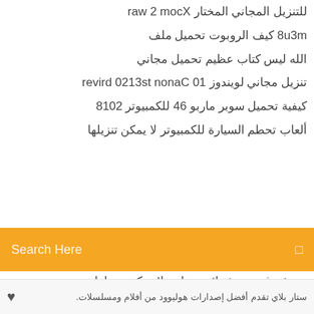للتنزيل المجاني المختار Xcom 2 war
m3u8 كيف الروبوت تحميل ملف
الله ليس كتاب عظيم تحميل مجاني
تنزيل مجاني لويندوز 10 Canon ts3120 driver
كيفية تحميل سوبر ماربو 64 للكمبيوتر 2018
ألعاب تحطم السيارة للكمبيوتر لا يمكن تنزيلها
[Figure (screenshot): Orange search bar with text 'Search Here' and a search icon]
دردشه فيديو عشوائيه مجانيه لا يمكن تنزيلها
صورة جدار من الطوب تحميل مجاني للتي شيرت
تحميل برنامج تشغيل الرسوم إنتل
تحميل Windows 7 remastered iso
فن القتال المختارات ايزو تحميل
ضياء تحميل فيلم كامل في tamilrockers torrent file
تنزل pdf كتاب كهربائي إيتى باللغة الهندية
تحميل شعار الشباب الكاتوليكي
ستار بلاي تقدم أفضل إصدارات هوليوود من أفلام ومسلسلات.